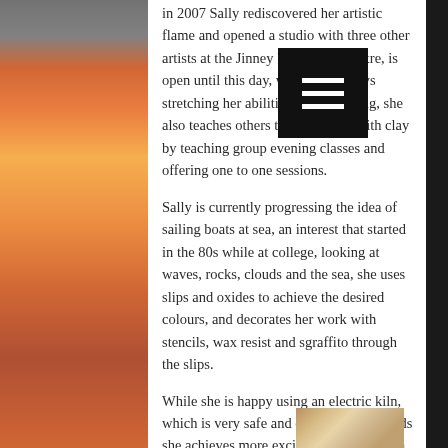in 2007 Sally rediscovered her artistic flame and opened a studio with three other artists at the Jinney Ring Craft Centre, is open until this day, where she enjoys stretching her abilities with throwing, she also teaches others to fall in love with clay by teaching group evening classes and offering one to one sessions.
Sally is currently progressing the idea of sailing boats at sea, an interest that started in the 80s while at college, looking at waves, rocks, clouds and the sea, she uses slips and oxides to achieve the desired colours, and decorates her work with stencils, wax resist and sgraffito through the slips.
While she is happy using an electric kiln, which is very safe and consistent, she finds she achieves more exciting results using a gas kiln, her latest ceramic exploration is through the method of crystalline glazing, which she is currently testing and trialing the technical needs.
[Figure (photo): Bottom portion of a photo showing a person, cropped at the top of the frame]